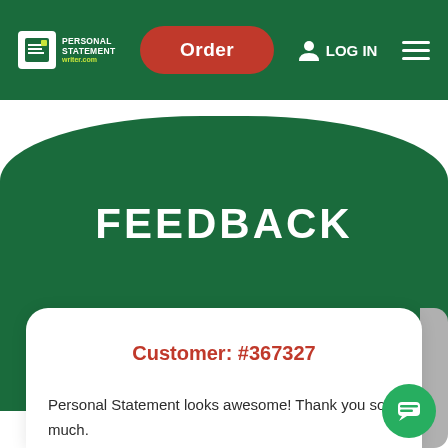Personal Statement Writer — Order | LOG IN
FEEDBACK
Customer: #367327
Personal Statement looks awesome! Thank you so much.